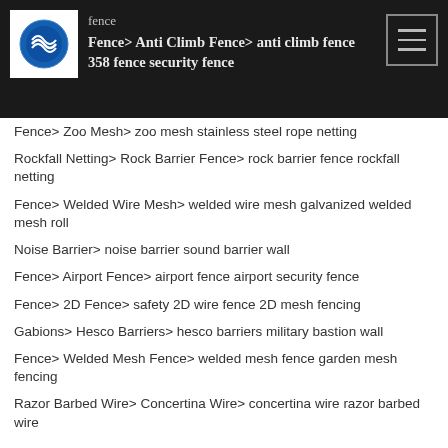fence | Fence > Anti Climb Fence > anti climb fence 358 fence security fence
Fence > Zoo Mesh > zoo mesh stainless steel rope netting
Rockfall Netting > Rock Barrier Fence > rock barrier fence rockfall netting
Fence > Welded Wire Mesh > welded wire mesh galvanized welded mesh roll
Noise Barrier > noise barrier sound barrier wall
Fence > Airport Fence > airport fence airport security fence
Fence > 2D Fence > safety 2D wire fence 2D mesh fencing
Gabions > Hesco Barriers > hesco barriers military bastion wall
Fence > Welded Mesh Fence > welded mesh fence garden mesh fencing
Razor Barbed Wire > Concertina Wire > concertina wire razor barbed wire